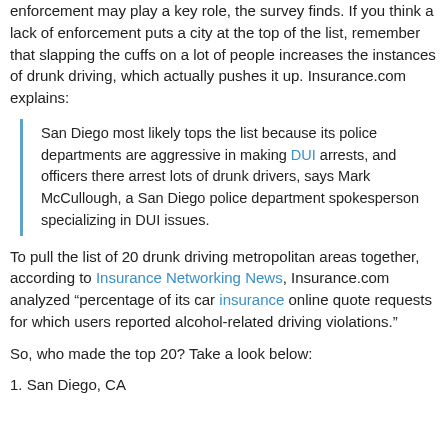enforcement may play a key role, the survey finds. If you think a lack of enforcement puts a city at the top of the list, remember that slapping the cuffs on a lot of people increases the instances of drunk driving, which actually pushes it up. Insurance.com explains:
San Diego most likely tops the list because its police departments are aggressive in making DUI arrests, and officers there arrest lots of drunk drivers, says Mark McCullough, a San Diego police department spokesperson specializing in DUI issues.
To pull the list of 20 drunk driving metropolitan areas together, according to Insurance Networking News, Insurance.com analyzed “percentage of its car insurance online quote requests for which users reported alcohol-related driving violations.”
So, who made the top 20? Take a look below:
1. San Diego, CA